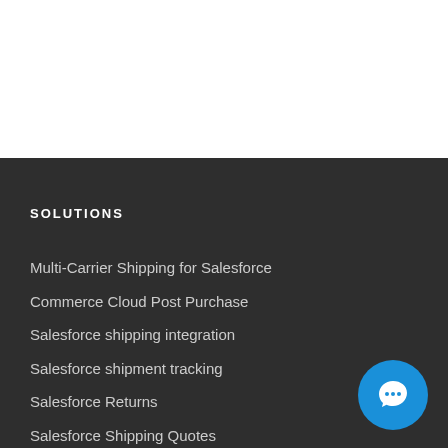SOLUTIONS
Multi-Carrier Shipping for Salesforce
Commerce Cloud Post Purchase
Salesforce shipping integration
Salesforce shipment tracking
Salesforce Returns
Salesforce Shipping Quotes
Salesforce Estimated Delivery Dates
Commerce Cloud Shipment Tracking
Commerce Cloud Returns
[Figure (illustration): Blue circular chat/support button with speech bubble icon]